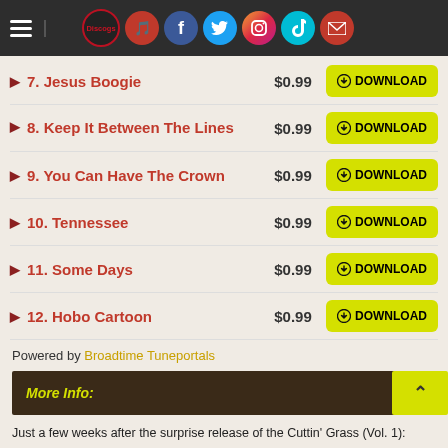Navigation and social icons header
7. Jesus Boogie $0.99 DOWNLOAD
8. Keep It Between The Lines $0.99 DOWNLOAD
9. You Can Have The Crown $0.99 DOWNLOAD
10. Tennessee $0.99 DOWNLOAD
11. Some Days $0.99 DOWNLOAD
12. Hobo Cartoon $0.99 DOWNLOAD
Powered by Broadtime Tuneportals
More Info:
Just a few weeks after the surprise release of the Cuttin' Grass (Vol. 1):